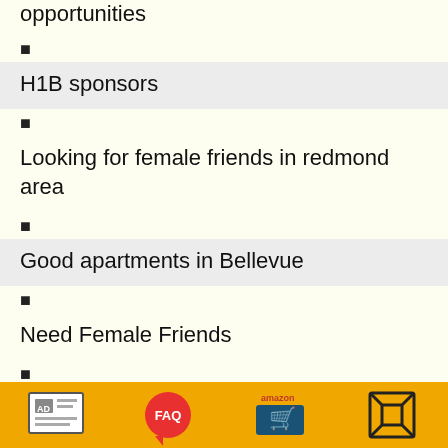opportunities
H1B sponsors
Looking for female friends in redmond area
Good apartments in Bellevue
Need Female Friends
How many days it takes to get Visitor Visa for Canada
Looking for an apartment closer to Overlake transit center
Kannada speaking friends
AD  FAQ  amazon  [icon]